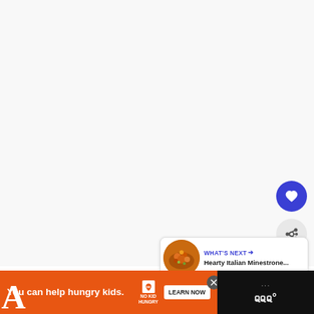[Figure (screenshot): Large white/light gray content area (article or recipe page body), mostly blank/white in this view]
[Figure (illustration): Blue circular FAB button with white heart icon (like/favorite button)]
[Figure (illustration): Light gray circular FAB button with share/network icon]
[Figure (screenshot): What's Next card showing food thumbnail (Hearty Italian Minestrone soup), label 'WHAT'S NEXT →', title 'Hearty Italian Minestrone...']
WHAT'S NEXT → Hearty Italian Minestrone...
[Figure (screenshot): Orange advertisement banner: 'You can help hungry kids.' with No Kid Hungry logo and LEARN NOW button. Close button visible. Dark bar on right with watermark dots and logo.]
You can help hungry kids.
NO KID HUNGRY
LEARN NOW
A